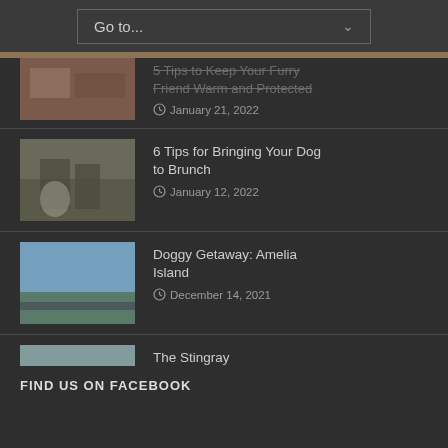Go to...
5 Tips to Keep Your Furry Friend Warm and Protected — January 21, 2022
6 Tips for Bringing Your Dog to Brunch — January 12, 2022
Doggy Getaway: Amelia Island — December 14, 2021
The Stingray — November 27, 2021
Getting That Perfect Pic of Your Dog — July 26, 2021
FIND US ON FACEBOOK